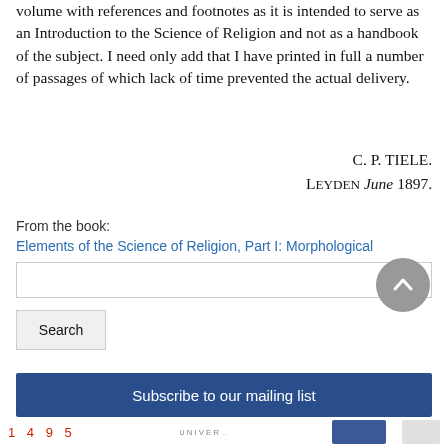volume with references and footnotes as it is intended to serve as an Introduction to the Science of Religion and not as a handbook of the subject. I need only add that I have printed in full a number of passages of which lack of time prevented the actual delivery.
C. P. TIELE.
LEYDEN June 1897.
From the book:
Elements of the Science of Religion, Part I: Morphological
[Figure (other): Search input box]
[Figure (other): Scroll-to-top circular button with upward chevron]
[Figure (other): Search button]
Subscribe to our mailing list
1 4 9 5  UNIVER...  [social/badge icons]